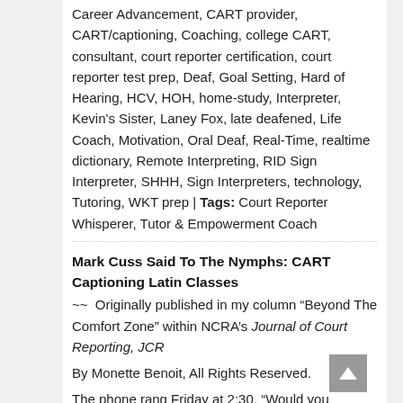Career Advancement, CART provider, CART/captioning, Coaching, college CART, consultant, court reporter certification, court reporter test prep, Deaf, Goal Setting, Hard of Hearing, HCV, HOH, home-study, Interpreter, Kevin's Sister, Laney Fox, late deafened, Life Coach, Motivation, Oral Deaf, Real-Time, realtime dictionary, Remote Interpreting, RID Sign Interpreter, SHHH, Sign Interpreters, technology, Tutoring, WKT prep | Tags: Court Reporter Whisperer, Tutor & Empowerment Coach
Mark Cuss Said To The Nymphs: CART Captioning Latin Classes
~~  Originally published in my column “Beyond The Comfort Zone” within NCRA’s Journal of Court Reporting, JCR
By Monette Benoit, All Rights Reserved.
The phone rang Friday at 2:30. “Would you realtime, CART, a class? We need you Monday morning. It started two months ago. Oh, it’s Latin.”
As an experienced court reporter, instructor, tutor, I’m